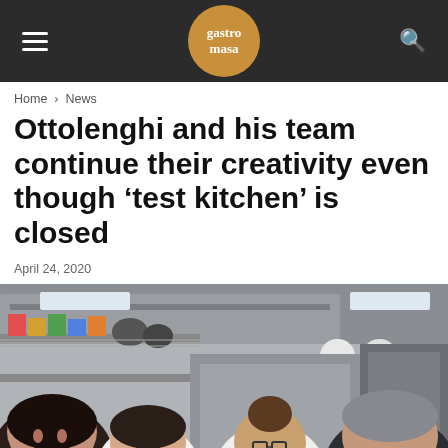gastro masa
Home > News
Ottolenghi and his team continue their creativity even though 'test kitchen' is closed
April 24, 2020
[Figure (photo): Ottolenghi and three female team members working in a professional kitchen with stainless steel shelving, equipment, and ventilation hood in background]